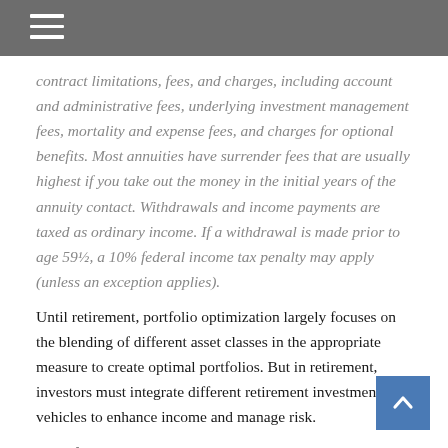contract limitations, fees, and charges, including account and administrative fees, underlying investment management fees, mortality and expense fees, and charges for optional benefits. Most annuities have surrender fees that are usually highest if you take out the money in the initial years of the annuity contact. Withdrawals and income payments are taxed as ordinary income. If a withdrawal is made prior to age 59½, a 10% federal income tax penalty may apply (unless an exception applies).
Until retirement, portfolio optimization largely focuses on the blending of different asset classes in the appropriate measure to create optimal portfolios. But in retirement, investors must integrate different retirement investment vehicles to enhance income and manage risk.
One of the industry's leading thinkers, Ibbotson